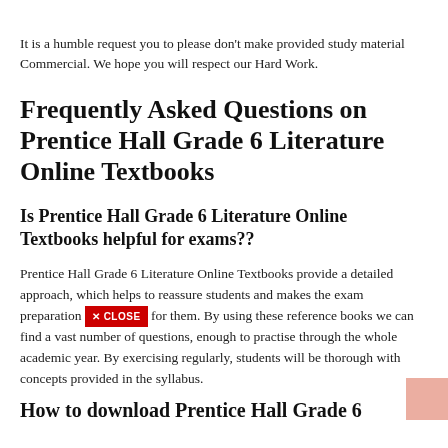It is a humble request you to please don't make provided study material Commercial. We hope you will respect our Hard Work.
Frequently Asked Questions on Prentice Hall Grade 6 Literature Online Textbooks
Is Prentice Hall Grade 6 Literature Online Textbooks helpful for exams??
Prentice Hall Grade 6 Literature Online Textbooks provide a detailed approach, which helps to reassure students and makes the exam preparation better for them. By using these reference books we can find a vast number of questions, enough to practise through the whole academic year. By exercising regularly, students will be thorough with concepts provided in the syllabus.
How to download Prentice Hall Grade 6